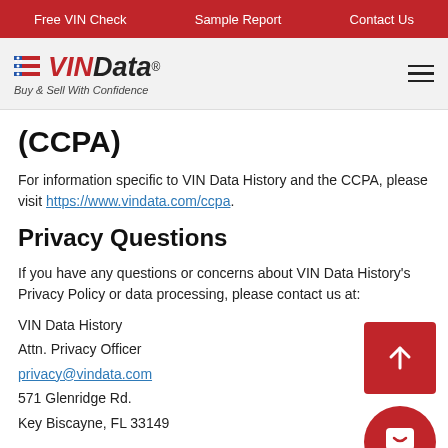Free VIN Check   Sample Report   Contact Us
[Figure (logo): VINData logo with red and black italic text and flag icon, tagline: Buy & Sell With Confidence]
(CCPA)
For information specific to VIN Data History and the CCPA, please visit https://www.vindata.com/ccpa.
Privacy Questions
If you have any questions or concerns about VIN Data History's Privacy Policy or data processing, please contact us at:
VIN Data History
Attn. Privacy Officer
privacy@vindata.com
571 Glenridge Rd.
Key Biscayne, FL 33149